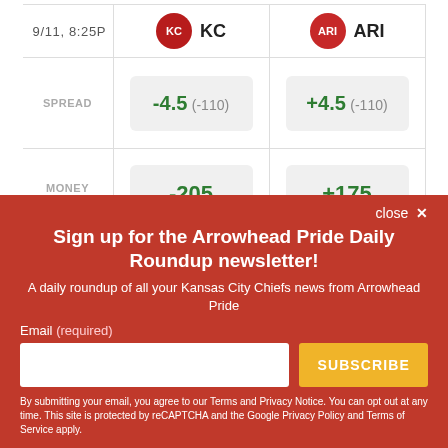|  | KC | ARI |
| --- | --- | --- |
| 9/11, 8:25p | KC | ARI |
| SPREAD | -4.5  (-110) | +4.5  (-110) |
| MONEY LINE | -205 | +175 |
close X
Sign up for the Arrowhead Pride Daily Roundup newsletter!
A daily roundup of all your Kansas City Chiefs news from Arrowhead Pride
Email (required)
SUBSCRIBE
By submitting your email, you agree to our Terms and Privacy Notice. You can opt out at any time. This site is protected by reCAPTCHA and the Google Privacy Policy and Terms of Service apply.